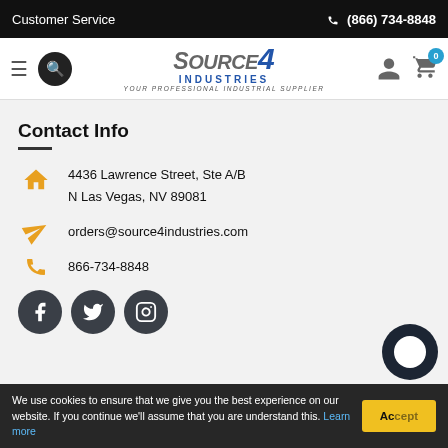Customer Service   ☎ (866) 734-8848
[Figure (logo): Source4Industries logo with tagline YOUR PROFESSIONAL INDUSTRIAL SUPPLIER]
Contact Info
4436 Lawrence Street, Ste A/B
N Las Vegas, NV 89081
orders@source4industries.com
866-734-8848
[Figure (illustration): Social media icons: Facebook, Twitter, Instagram circles]
We use cookies to ensure that we give you the best experience on our website. If you continue we'll assume that you are understand this. Learn more